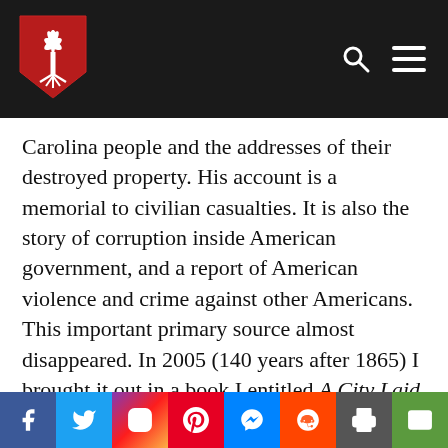[Figure (logo): South Carolina Palmetto shield logo in red and white on dark header bar]
Carolina people and the addresses of their destroyed property. His account is a memorial to civilian casualties. It is also the story of corruption inside American government, and a report of American violence and crime against other Americans. This important primary source almost disappeared. In 2005 (140 years after 1865) I brought it out in a book I entitled A City Laid Waste.
[Figure (infographic): Social media sharing bar with icons for Facebook, Twitter, Instagram, Pinterest, Messenger, Reddit, Print, and Email]